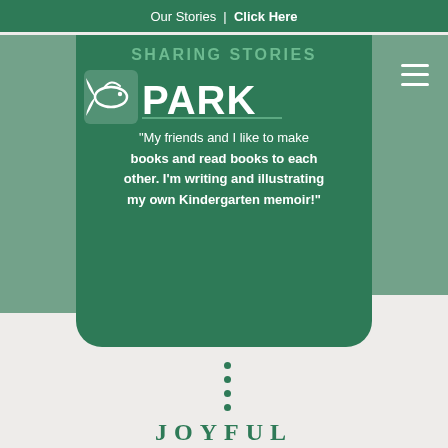Our Stories | Click Here
SHARING STORIES
[Figure (logo): Park school logo with a leaping fish icon and PARK text]
“My friends and I like to make books and read books to each other. I’m writing and illustrating my own Kindergarten memoir!”
[Figure (other): Four vertical dots indicating carousel pagination]
JOYFUL